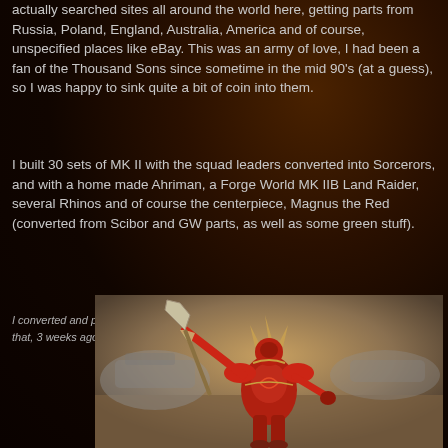actually searched sites all around the world here, getting parts from Russia, Poland, England, Australia, America and of course, unspecified places like eBay. This was an army of love, I had been a fan of the Thousand Sons since sometime in the mid 90's (at a guess), so I was happy to sink quite a bit of coin into them.
I built 30 sets of MK II with the squad leaders converted into Sorcerors, and with a home made Ahriman, a Forge World MK IIB Land Raider, several Rhinos and of course the centerpiece, Magnus the Red (converted from Scibor and GW parts, as well as some green stuff).
I converted and painted this painted Magnus before 6th edition dropped. When was that, 3 weeks ago?
[Figure (photo): A painted miniature of Magnus the Red from Warhammer 40K, a large red armored figure with horns holding a large halberd/axe weapon, converted from Scibor and GW parts. The background shows blurred tanks or vehicles in a sandy/earthy setting.]